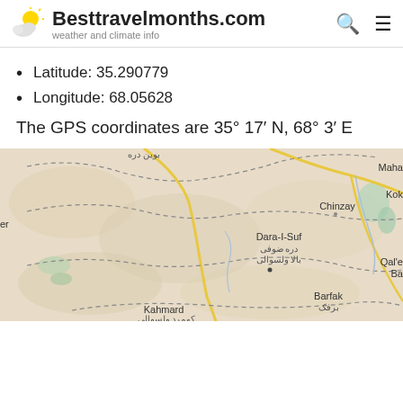Besttravelmonths.com — weather and climate info
Latitude: 35.290779
Longitude: 68.05628
The GPS coordinates are 35° 17′ N, 68° 3′ E
[Figure (map): Map showing the area around Dara-I-Suf / دره ضوفی / بالا ولسوالی, Afghanistan, with place names including Chinzay, Kahmard, Barfak / برفک, and partial labels for Maha, Kok, Qal'e Ba, and er visible at edges.]